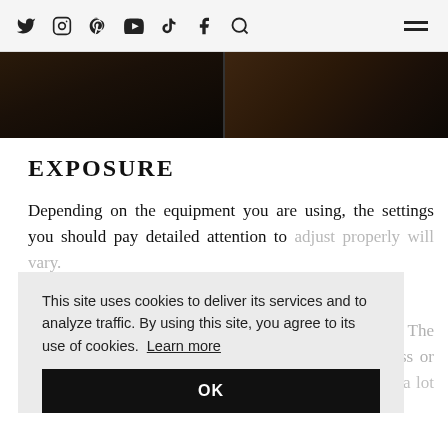Social media icons (Twitter, Instagram, Pinterest, YouTube, TikTok, Facebook, Search) and hamburger menu
[Figure (photo): Dark moody photograph split in two panels showing dark brown/black tones, possibly books or wood grain]
EXPOSURE
Depending on the equipment you are using, the settings you should pay detailed attention to adjust properly will vary.
PROFESSIONAL CAMERA
First and foremost, use the histogram to help you. The histogram is a graph that shows the overall brightness or luminosity of a landscape. It peaks whenever there is a lot of the tonal
This site uses cookies to deliver its services and to analyze traffic. By using this site, you agree to its use of cookies. Learn more
OK